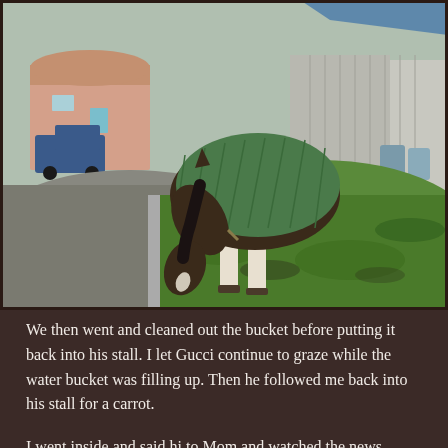[Figure (photo): A horse wearing a green quilted blanket/rug grazing on green grass outside a farm. Buildings and a truck are visible in the background. The setting appears to be a rural property on an overcast day.]
We then went and cleaned out the bucket before putting it back into his stall. I let Gucci continue to graze while the water bucket was filling up. Then he followed me back into his stall for a carrot.
I went inside and said hi to Mom and watched the news